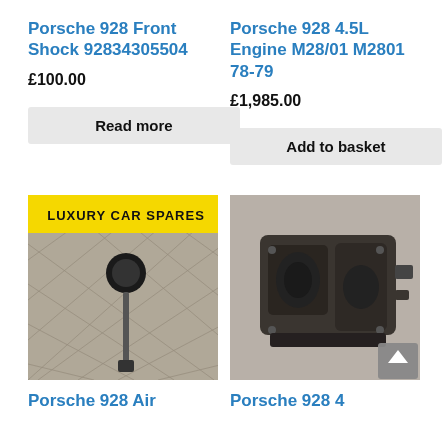Porsche 928 Front Shock 92834305504
£100.00
Read more
Porsche 928 4.5L Engine M28/01 M2801 78-79
£1,985.00
Add to basket
[Figure (photo): A car shock absorber part on a diamond-plate metal surface with a yellow 'LUXURY CAR SPARES' banner at top]
[Figure (photo): A Porsche 928 engine/gearbox assembly photographed on a garage floor]
Porsche 928 Air
Porsche 928 4